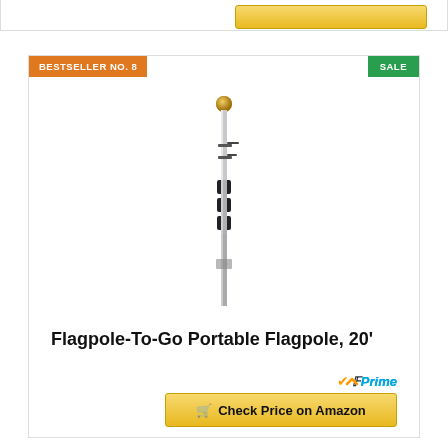BESTSELLER NO. 8
SALE
[Figure (photo): A portable flagpole product standing vertically, silver/chrome pole with black bands and gold ball finial at top]
Flagpole-To-Go Portable Flagpole, 20'
Prime
Check Price on Amazon